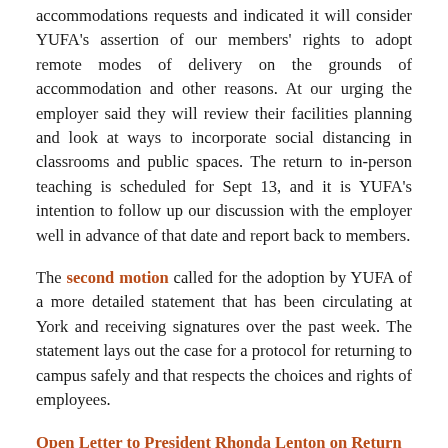accommodations requests and indicated it will consider YUFA's assertion of our members' rights to adopt remote modes of delivery on the grounds of accommodation and other reasons. At our urging the employer said they will review their facilities planning and look at ways to incorporate social distancing in classrooms and public spaces. The return to in-person teaching is scheduled for Sept 13, and it is YUFA's intention to follow up our discussion with the employer well in advance of that date and report back to members.
The second motion called for the adoption by YUFA of a more detailed statement that has been circulating at York and receiving signatures over the past week. The statement lays out the case for a protocol for returning to campus safely and that respects the choices and rights of employees.
Open Letter to President Rhonda Lenton on Return to Campus
In just a few days, the new academic year is set to begin at York University. Thousands of students and